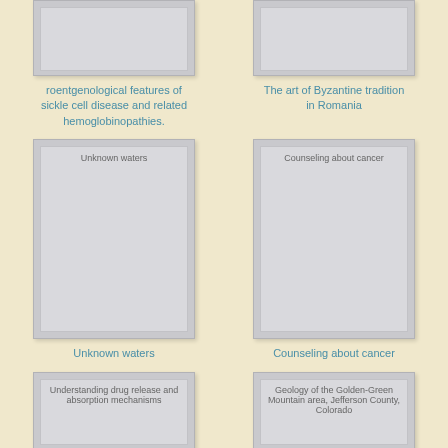[Figure (illustration): Partial book cover at top left - roentgenological features of sickle cell disease book]
roentgenological features of sickle cell disease and related hemoglobinopathies.
[Figure (illustration): Partial book cover at top right - The art of Byzantine tradition in Romania book]
The art of Byzantine tradition in Romania
[Figure (illustration): Book cover - Unknown waters]
Unknown waters
[Figure (illustration): Book cover - Counseling about cancer]
Counseling about cancer
[Figure (illustration): Partial book cover at bottom left - Understanding drug release and absorption mechanisms]
Understanding drug release and absorption mechanisms
[Figure (illustration): Partial book cover at bottom right - Geology of the Golden-Green Mountain area, Jefferson County, Colorado]
Geology of the Golden-Green Mountain area, Jefferson County, Colorado